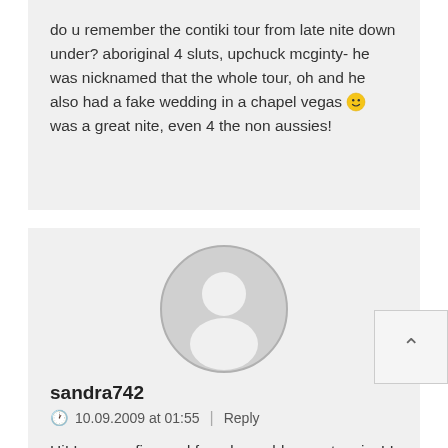do u remember the contiki tour from late nite down under? aboriginal 4 sluts, upchuck mcginty- he was nicknamed that the whole tour, oh and he also had a fake wedding in a chapel vegas 🙂 was a great nite, even 4 the non aussies!
[Figure (illustration): Default user avatar: a gray circle with a white silhouette of a person (head and shoulders)]
sandra742
🕐 10.09.2009 at 01:55 | Reply
Hi! I was surfing and found your blog post... nice! I love your blog. 🙂 Cheers! Sandra. R.